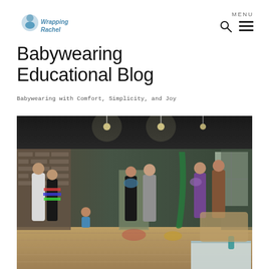Wrapping Rachel
Babywearing Educational Blog
Babywearing with Comfort, Simplicity, and Joy
[Figure (photo): Group of people in a room practicing babywearing with wraps and carriers. The room has exposed brick walls, a dark ceiling with pendant lights, and hardwood floors. Several women are standing and wrapping babies or demonstrating babywearing techniques.]